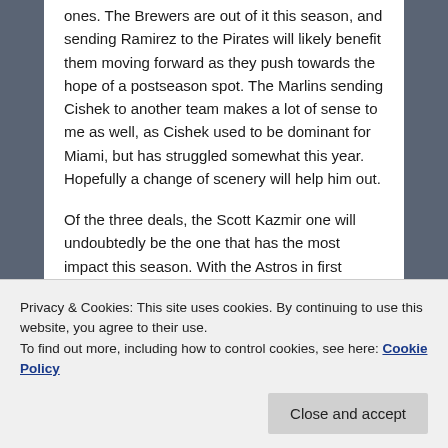ones. The Brewers are out of it this season, and sending Ramirez to the Pirates will likely benefit them moving forward as they push towards the hope of a postseason spot. The Marlins sending Cishek to another team makes a lot of sense to me as well, as Cishek used to be dominant for Miami, but has struggled somewhat this year. Hopefully a change of scenery will help him out.
Of the three deals, the Scott Kazmir one will undoubtedly be the one that has the most impact this season. With the Astros in first place, Kazmir could really be crucial in helping them hold on to make the playoffs for the first time since 2005.
But while these few trades were somewhat beneficial, a
Privacy & Cookies: This site uses cookies. By continuing to use this website, you agree to their use.
To find out more, including how to control cookies, see here: Cookie Policy